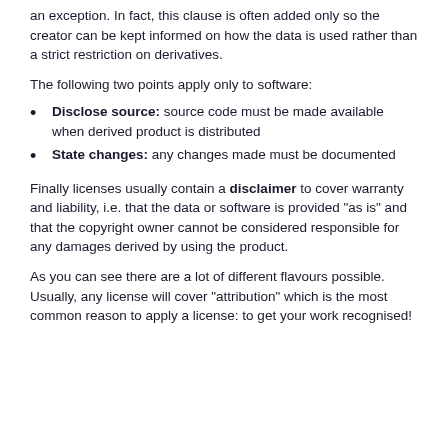an exception. In fact, this clause is often added only so the creator can be kept informed on how the data is used rather than a strict restriction on derivatives.
The following two points apply only to software:
Disclose source: source code must be made available when derived product is distributed
State changes: any changes made must be documented
Finally licenses usually contain a disclaimer to cover warranty and liability, i.e. that the data or software is provided "as is" and that the copyright owner cannot be considered responsible for any damages derived by using the product.
As you can see there are a lot of different flavours possible. Usually, any license will cover "attribution" which is the most common reason to apply a license: to get your work recognised!